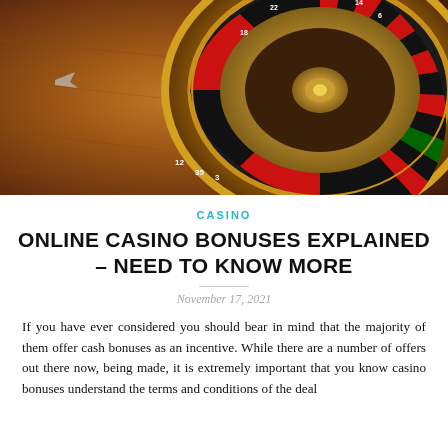[Figure (photo): Close-up photograph of a casino roulette wheel with red and black numbered slots, golden metallic frame, warm brown wooden background]
CASINO
ONLINE CASINO BONUSES EXPLAINED – NEED TO KNOW MORE
November 17, 2021
If you have ever considered you should bear in mind that the majority of them offer cash bonuses as an incentive. While there are a number of offers out there now, being made, it is extremely important that you know casino bonuses understand the terms and conditions of the deal